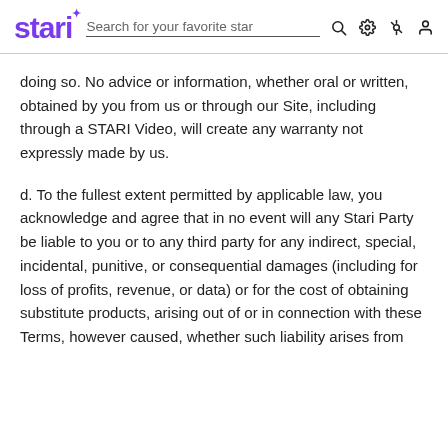stari | Search for your favorite star
doing so. No advice or information, whether oral or written, obtained by you from us or through our Site, including through a STARI Video, will create any warranty not expressly made by us.
d. To the fullest extent permitted by applicable law, you acknowledge and agree that in no event will any Stari Party be liable to you or to any third party for any indirect, special, incidental, punitive, or consequential damages (including for loss of profits, revenue, or data) or for the cost of obtaining substitute products, arising out of or in connection with these Terms, however caused, whether such liability arises from